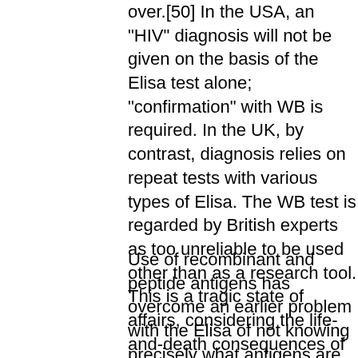over.[50] In the USA, an "HIV" diagnosis will not be given on the basis of the Elisa test alone; "confirmation" with WB is required. In the UK, by contrast, diagnosis relies on repeat tests with various types of Elisa. The WB test is regarded by British experts as too unreliable to be used other than as a research tool. This is a tragic state of affairs, considering the life-and-death consequences of a positive test result.
Use of recombinant and peptide antigens has overcome an earlier problem with the Elisa of not knowing precisely what antigens are present in it, but it is not much use knowing what has gone into the test kits if you still do not know whether or not those antigens are specific to a new virus. This criticism applies as much to